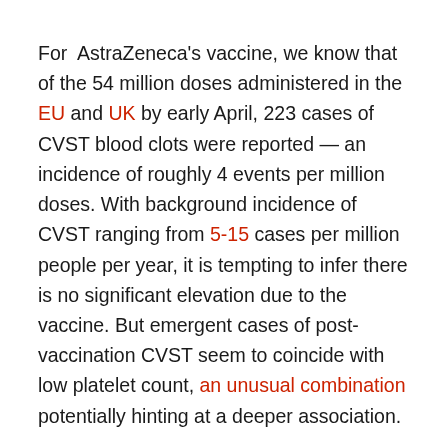For AstraZeneca's vaccine, we know that of the 54 million doses administered in the EU and UK by early April, 223 cases of CVST blood clots were reported — an incidence of roughly 4 events per million doses. With background incidence of CVST ranging from 5-15 cases per million people per year, it is tempting to infer there is no significant elevation due to the vaccine. But emergent cases of post-vaccination CVST seem to coincide with low platelet count, an unusual combination potentially hinting at a deeper association.
Yet making a causal connection is a fraught affair. Both typical CVST and the vaccine-associated CVST are so vanishingly rare that even a handful of recorded events